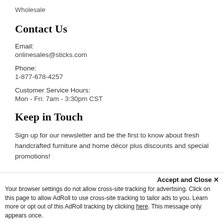Wholesale
Contact Us
Email:
onlinesales@sticks.com
Phone:
1-877-678-4257
Customer Service Hours:
Mon - Fri: 7am - 3:30pm CST
Keep in Touch
Sign up for our newsletter and be the first to know about fresh handcrafted furniture and home décor plus discounts and special promotions!
Accept and Close ✕
Your browser settings do not allow cross-site tracking for advertising. Click on this page to allow AdRoll to use cross-site tracking to tailor ads to you. Learn more or opt out of this AdRoll tracking by clicking here. This message only appears once.